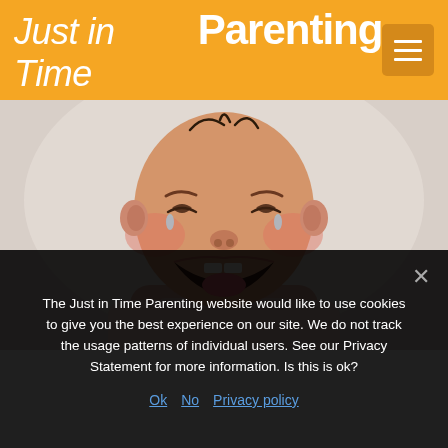Just in Time Parenting
[Figure (photo): Close-up photo of a baby or toddler crying with mouth wide open, showing teeth, wearing a light pink top, against a light grey background]
The Just in Time Parenting website would like to use cookies to give you the best experience on our site. We do not track the usage patterns of individual users. See our Privacy Statement for more information. Is this is ok?
Ok  No  Privacy policy